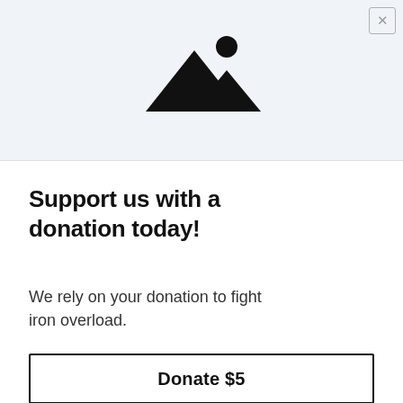[Figure (illustration): Mountain landscape icon with a circle (sun) in the upper right, displayed on a light blue-gray background. Black silhouette of two mountain peaks with a circle above the right peak.]
Support us with a donation today!
We rely on your donation to fight iron overload.
Donate $5